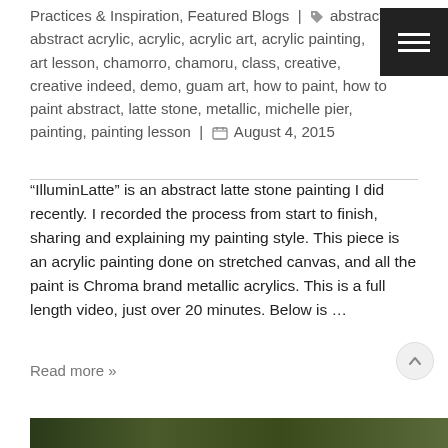Practices & Inspiration, Featured Blogs | 🏷 abstract, abstract acrylic, acrylic, acrylic art, acrylic painting, art lesson, chamorro, chamoru, class, creative, creative indeed, demo, guam art, how to paint, how to paint abstract, latte stone, metallic, michelle pier, painting, painting lesson | 📅 August 4, 2015
“IlluminLatte” is an abstract latte stone painting I did recently. I recorded the process from start to finish, sharing and explaining my painting style. This piece is an acrylic painting done on stretched canvas, and all the paint is Chroma brand metallic acrylics. This is a full length video, just over 20 minutes. Below is …
Read more »